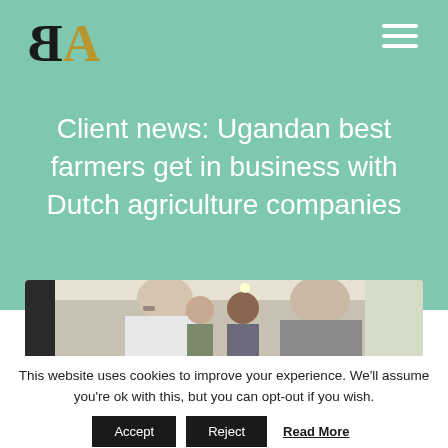[Figure (logo): EA logo with reversed B in black and A in gold/brown color]
Client news: Ugandan best farmers get in business with Dutch agriculture companies
[Figure (photo): Business people having a conversation indoors, showing two men facing each other with others in the background]
This website uses cookies to improve your experience. We'll assume you're ok with this, but you can opt-out if you wish.
Accept  Reject  Read More